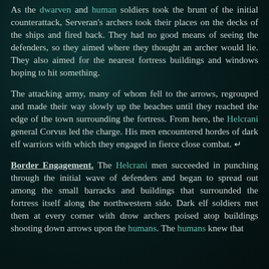As the dwarven and human soldiers took the brunt of the initial counterattack, Serveran's archers took their places on the decks of the ships and fired back. They had no good means of seeing the defenders, so they aimed where they thought an archer would lie. They also aimed for the nearest fortress buildings and windows hoping to hit something.
The attacking army, many of whom fell to the arrows, regrouped and made their way slowly up the beaches until they reached the edge of the town surrounding the fortress. From here, the Helcrani general Corvus led the charge. His men encountered hordes of dark elf warriors with which they engaged in fierce close combat. ↵
Border Engagement. The Helcrani men succeeded in punching through the initial wave of defenders and began to spread out among the small barracks and buildings that surrounded the fortress itself along the northwestern side. Dark elf soldiers met them at every corner with drow archers poised atop buildings shooting down arrows upon the humans. The humans knew that